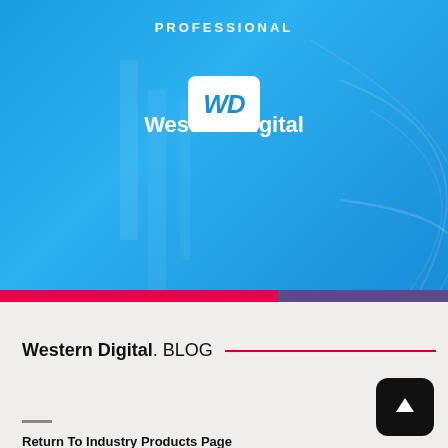[Figure (logo): Western Digital Professional sign-up page header with WD logo, brand name, divider line, and Sign Up button on blue gradient background with decorative shapes]
Western Digital. BLOG
Return To Industry Products Page